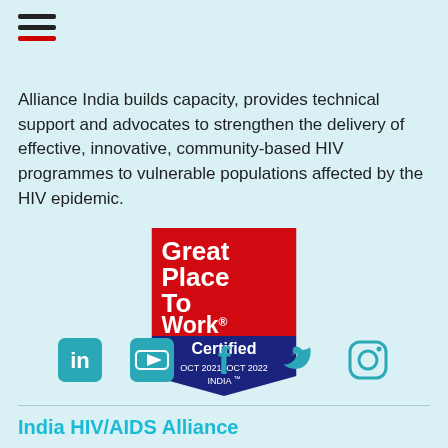[Figure (other): Hamburger menu icon (three horizontal lines, bottom line red)]
Alliance India builds capacity, provides technical support and advocates to strengthen the delivery of effective, innovative, community-based HIV programmes to vulnerable populations affected by the HIV epidemic.
[Figure (logo): Great Place To Work Certified badge. Red rectangle on top with white text 'Great Place To Work®', dark blue pentagon/shield shape below with white text 'Certified OCT 2021–OCT 2022 INDIA ™']
[Figure (other): Row of five social media icons: LinkedIn, YouTube, Facebook, Twitter, Instagram — all in teal/dark cyan color]
India HIV/AIDS Alliance